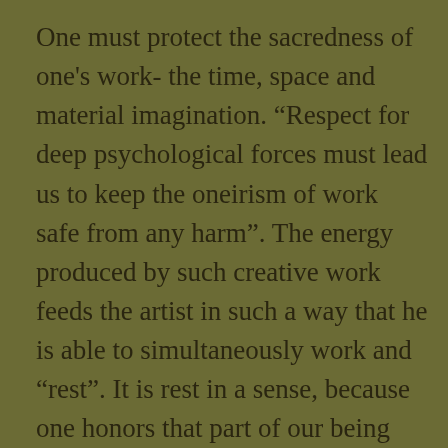One must protect the sacredness of one's work- the time, space and material imagination. “Respect for deep psychological forces must lead us to keep the oneirism of work safe from any harm”. The energy produced by such creative work feeds the artist in such a way that he is able to simultaneously work and “rest”. It is rest in a sense, because one honors that part of our being that seeks expression. Rest and renewal of inner energies is paramount to one’s ability to create. The artist needs to exhaust themselves in the work itself only to find that one’s energy is simultaneously revived in the process. One’s ability to work this way gives a joy that is satisfying. Without this deep connection, the